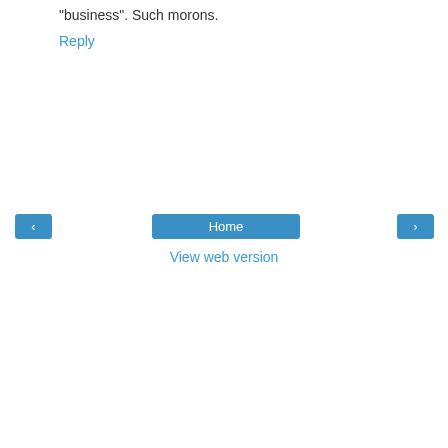"business". Such morons.
Reply
‹
Home
›
View web version